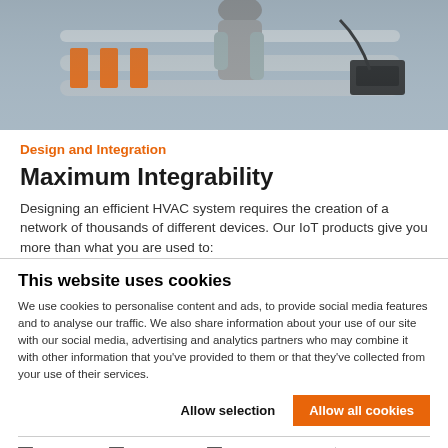[Figure (photo): Industrial HVAC equipment installation scene with a person working on pipes and orange-labeled components]
Design and Integration
Maximum Integrability
Designing an efficient HVAC system requires the creation of a network of thousands of different devices. Our IoT products give you more than what you are used to:
This website uses cookies
We use cookies to personalise content and ads, to provide social media features and to analyse our traffic. We also share information about your use of our site with our social media, advertising and analytics partners who may combine it with other information that you've provided to them or that they've collected from your use of their services.
Allow selection | Allow all cookies
Necessary  Preferences  Statistics  Marketing  Show details